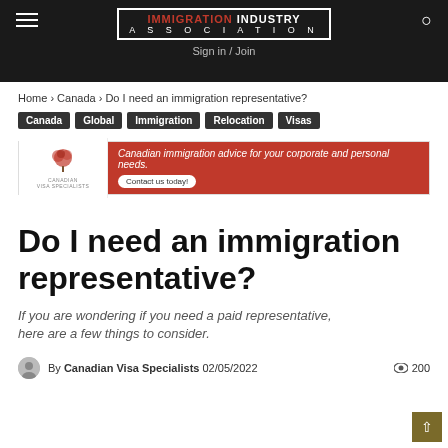IMMIGRATION INDUSTRY ASSOCIATION | Sign in / Join
Home › Canada › Do I need an immigration representative?
Canada
Global
Immigration
Relocation
Visas
[Figure (illustration): Canadian Visa Specialists advertisement banner with logo on left and red background on right reading: Canadian immigration advice for your corporate and personal needs. Contact us today!]
Do I need an immigration representative?
If you are wondering if you need a paid representative, here are a few things to consider.
By Canadian Visa Specialists 02/05/2022  200